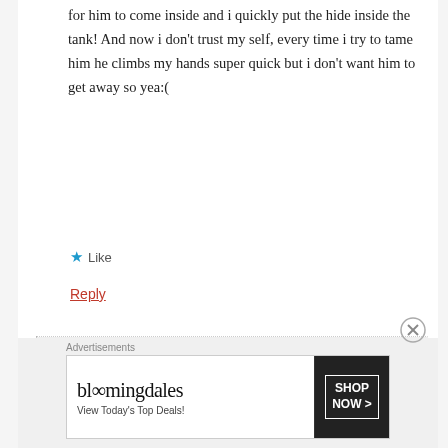for him to come inside and i quickly put the hide inside the tank! And now i don't trust my self, every time i try to tame him he climbs my hands super quick but i don't want him to get away so yea:(
★ Like
Reply
leopardgecko.care says:
November 8, 2020 at 8:22 pm
Advertisements
[Figure (other): Bloomingdale's advertisement banner with logo, 'View Today's Top Deals!' text, woman wearing wide-brim hat, and 'SHOP NOW >' button]